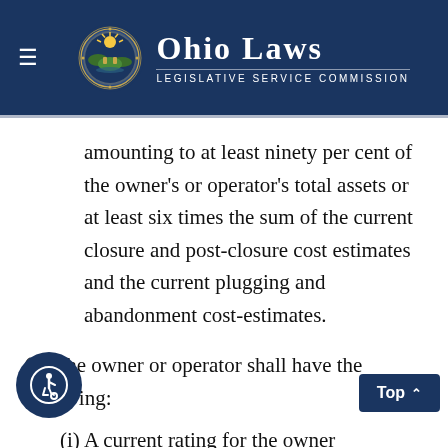Ohio Laws – Legislative Service Commission
amounting to at least ninety per cent of the owner's or operator's total assets or at least six times the sum of the current closure and post-closure cost estimates and the current plugging and abandonment cost-estimates.
(b) The owner or operator shall have the following:
(i) A current rating for the owner